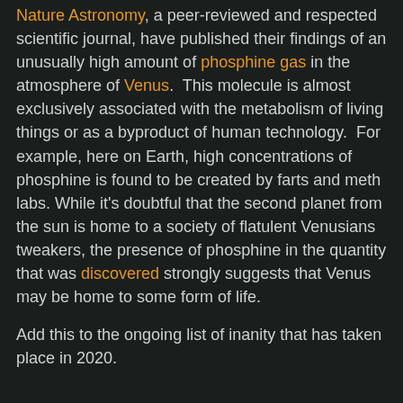Nature Astronomy, a peer-reviewed and respected scientific journal, have published their findings of an unusually high amount of phosphine gas in the atmosphere of Venus. This molecule is almost exclusively associated with the metabolism of living things or as a byproduct of human technology. For example, here on Earth, high concentrations of phosphine is found to be created by farts and meth labs. While it's doubtful that the second planet from the sun is home to a society of flatulent Venusians tweakers, the presence of phosphine in the quantity that was discovered strongly suggests that Venus may be home to some form of life.
Add this to the ongoing list of inanity that has taken place in 2020.
Sep 14, 2020
Let The Election Play Out In Your Home